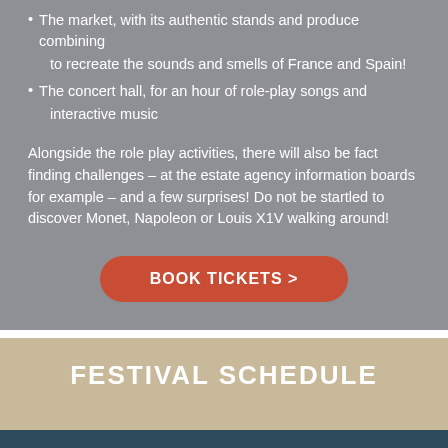The market, with its authentic stands and produce combining to recreate the sounds and smells of France and Spain!
The concert hall, for an hour of role-play songs and interactive music
Alongside the role play activities, there will also be fact finding challenges – at the estate agency information boards for example – and a few surprises! Do not be startled to discover Monet, Napoleon or Louis X1V walking around!
BOOK TICKETS >
FESTIVAL SCHEDULE